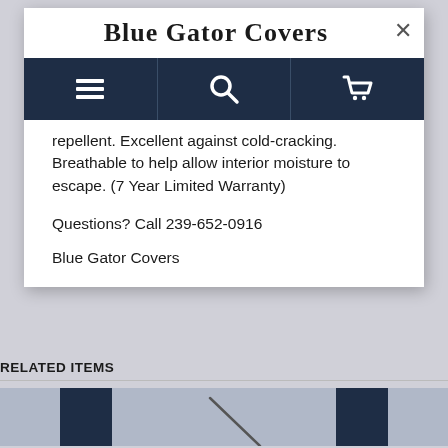Blue Gator Covers
Navigation bar with menu, search, and cart icons
repellent. Excellent against cold-cracking. Breathable to help allow interior moisture to escape. (7 Year Limited Warranty)
Questions? Call 239-652-0916
Blue Gator Covers
RELATED ITEMS
[Figure (photo): Product image strip showing a related item with dark navy vertical panels on a gray background]